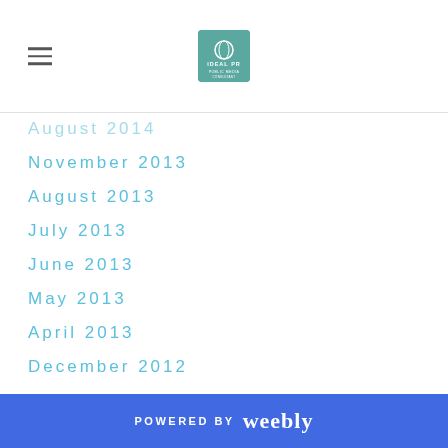IDEAL PR [logo]
August 2014
November 2013
August 2013
July 2013
June 2013
May 2013
April 2013
December 2012
October 2012
August 2012
June 2011
POWERED BY weebly